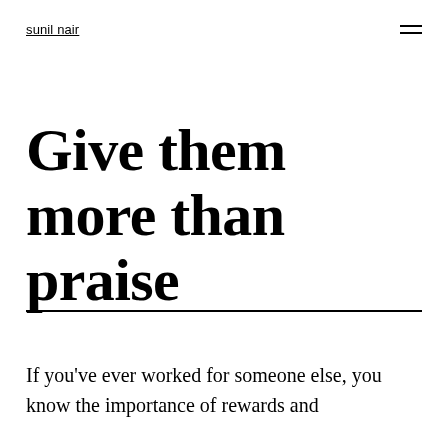sunil nair
Give them more than praise
If you've ever worked for someone else, you know the importance of rewards and